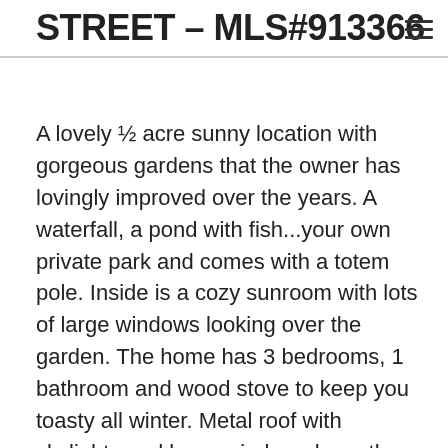STREET – MLS#913366
A lovely ½ acre sunny location with gorgeous gardens that the owner has lovingly improved over the years. A waterfall, a pond with fish...your own private park and comes with a totem pole. Inside is a cozy sunroom with lots of large windows looking over the garden. The home has 3 bedrooms, 1 bathroom and wood stove to keep you toasty all winter. Metal roof with skylights and large windows keep the home bright even on cloudy days. Beach and boat launch close by. Income potential with $850 a month for the tenanted cabin (open concept with 1 bathroom and skylights) and $450 a month for the tenanted trailer site. Both tenants pay their own Hydro. Additional income from water sales to a